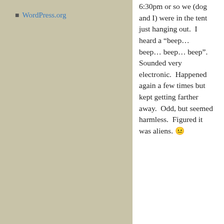WordPress.org
[Figure (logo): Twitter bird logo on blue background square]
6:30pm or so we (dog and I) were in the tent just hanging out.  I heard a “beep… beep… beep… beep”.  Sounded very electronic.  Happened again a few times but kept getting farther away.  Odd, but seemed harmless.  Figured it was aliens. 😐